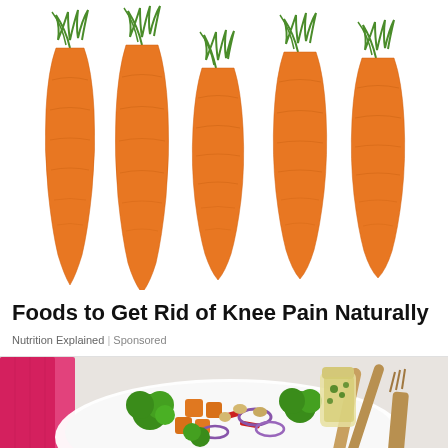[Figure (photo): Five fresh orange carrots with green tops arranged side by side on a white background, varying slightly in size]
Foods to Get Rid of Knee Pain Naturally
Nutrition Explained | Sponsored
[Figure (photo): A bowl of colorful salad with broccoli, red onions, orange sweet potato cubes, tomatoes, and nuts, with wooden serving utensils and a jar of dressing on the side, on a light gray background with a pink cloth]